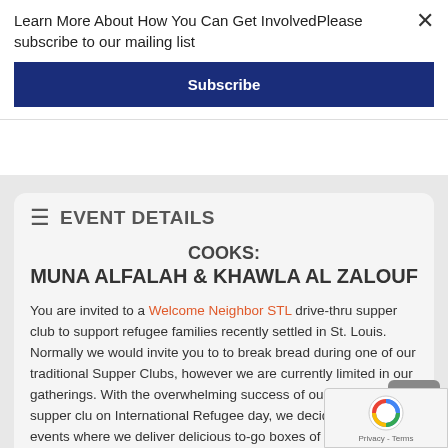Learn More About How You Can Get InvolvedPlease subscribe to our mailing list
Subscribe
EVENT DETAILS
COOKS:
MUNA ALFALAH & KHAWLA AL ZALOUF
You are invited to a Welcome Neighbor STL drive-thru supper club to support refugee families recently settled in St. Louis.  Normally we would invite you to to break bread during one of our traditional Supper Clubs, however we are currently limited in our gatherings. With the overwhelming success of our drive-thru supper club on International Refugee day, we decided to continue events where we deliver delicious to-go boxes of authentic cuisines directly to your car.